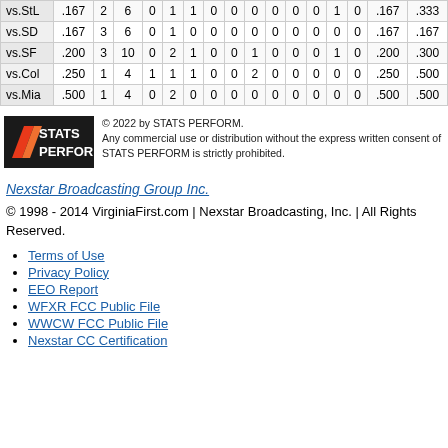|  |  |  |  |  |  |  |  |  |  |  |  |  |  |  |  |  |
| --- | --- | --- | --- | --- | --- | --- | --- | --- | --- | --- | --- | --- | --- | --- | --- | --- |
| vs.StL | .167 | 2 | 6 | 0 | 1 | 1 | 0 | 0 | 0 | 0 | 0 | 0 | 1 | 0 | .167 | .333 |
| vs.SD | .167 | 3 | 6 | 0 | 1 | 0 | 0 | 0 | 0 | 0 | 0 | 0 | 0 | 0 | .167 | .167 |
| vs.SF | .200 | 3 | 10 | 0 | 2 | 1 | 0 | 0 | 1 | 0 | 0 | 0 | 1 | 0 | .200 | .300 |
| vs.Col | .250 | 1 | 4 | 1 | 1 | 1 | 0 | 0 | 2 | 0 | 0 | 0 | 0 | 0 | .250 | .500 |
| vs.Mia | .500 | 1 | 4 | 0 | 2 | 0 | 0 | 0 | 0 | 0 | 0 | 0 | 0 | 0 | .500 | .500 |
[Figure (logo): STATS PERFORM logo — black background with orange/red diagonal stripes and white text]
© 2022 by STATS PERFORM. Any commercial use or distribution without the express written consent of STATS PERFORM is strictly prohibited.
Nexstar Broadcasting Group Inc.
© 1998 - 2014 VirginiaFirst.com | Nexstar Broadcasting, Inc. | All Rights Reserved.
Terms of Use
Privacy Policy
EEO Report
WFXR FCC Public File
WWCW FCC Public File
Nexstar CC Certification